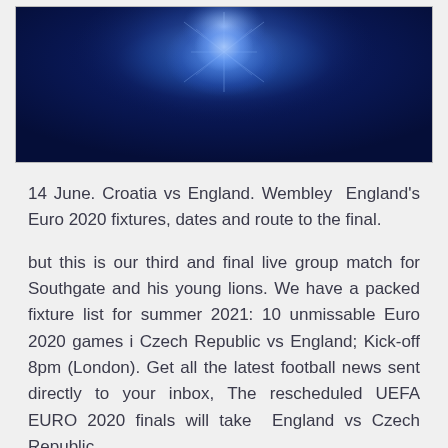[Figure (photo): Dark blue background image with a glowing blue light effect, resembling a UEFA Euro 2020 promotional graphic.]
14 June. Croatia vs England. Wembley  England's Euro 2020 fixtures, dates and route to the final.
but this is our third and final live group match for Southgate and his young lions. We have a packed fixture list for summer 2021: 10 unmissable Euro 2020 games i Czech Republic vs England; Kick-off 8pm (London). Get all the latest football news sent directly to your inbox, The rescheduled UEFA EURO 2020 finals will take  England vs Czech Republic.